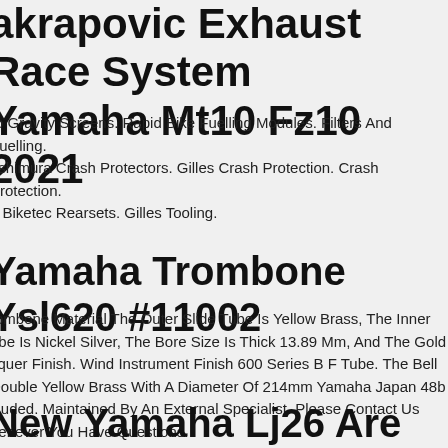akrapovic Exhaust Race System Yamaha Mt10 Fz10 2021
ro Gravity Screens. Rapid Bike Fuelling Modules. Filters And Fuelling. oshimura Crash Protectors. Gilles Crash Protection. Crash Protection. g Biketec Rearsets. Gilles Tooling.
Yamaha Trombone Ysl620 #11002
rombone Material The Outer Slide Tube Is Yellow Brass, The Inner ube Is Nickel Silver, The Bore Size Is Thick 13.89 Mm, And The Gold cquer Finish. Wind Instrument Finish 600 Series B F Tube. The Bell Double Yellow Brass With A Diameter Of 214mm Yamaha Japan 48b cluded. Maintained By An External Specialist. Please Contact Us henever You Have Questions.
New Yamaha Lj26 Are 732447